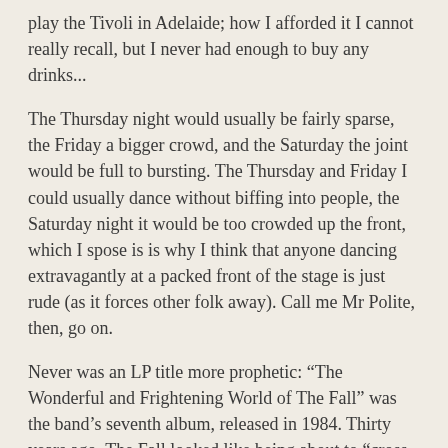play the Tivoli in Adelaide; how I afforded it I cannot really recall, but I never had enough to buy any drinks...
The Thursday night would usually be fairly sparse, the Friday a bigger crowd, and the Saturday the joint would be full to bursting. The Thursday and Friday I could usually dance without biffing into people, the Saturday night it would be too crowded up the front, which I spose is is why I think that anyone dancing extravagantly at a packed front of the stage is just rude (as it forces other folk away). Call me Mr Polite, then, go on.
Never was an LP title more prophetic: “The Wonderful and Frightening World of The Fall” was the band’s seventh album, released in 1984. Thirty years ago, The Fall looked like being about to “cross over” but ... nope, after numerous minor hits, Mark E. Smith and his band has never had one in the Top 10. Perhaps that’s partly Mark’s idiosyncratic approach to recording, singing in a manner which either causes confusion or a swift twiddle of the knob.
Comment (2)   Read More
Tweet   Like 0